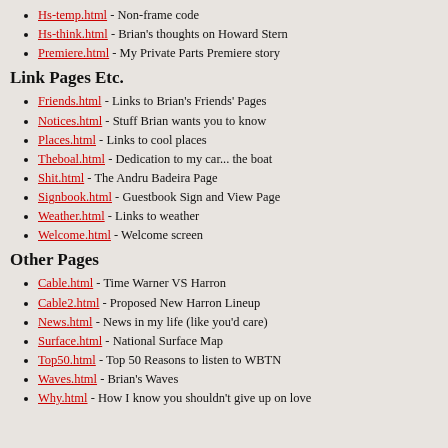Hs-temp.html - Non-frame code
Hs-think.html - Brian's thoughts on Howard Stern
Premiere.html - My Private Parts Premiere story
Link Pages Etc.
Friends.html - Links to Brian's Friends' Pages
Notices.html - Stuff Brian wants you to know
Places.html - Links to cool places
Theboal.html - Dedication to my car... the boat
Shit.html - The Andru Badeira Page
Signbook.html - Guestbook Sign and View Page
Weather.html - Links to weather
Welcome.html - Welcome screen
Other Pages
Cable.html - Time Warner VS Harron
Cable2.html - Proposed New Harron Lineup
News.html - News in my life (like you'd care)
Surface.html - National Surface Map
Top50.html - Top 50 Reasons to listen to WBTN
Waves.html - Brian's Waves
Why.html - How I know you shouldn't give up on love